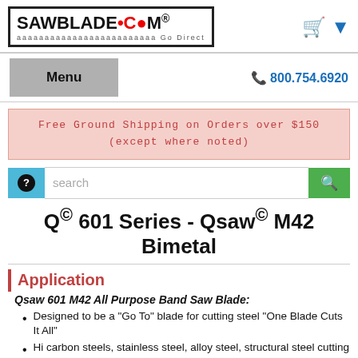SAWBLADE•COM Go Direct
Menu  800.754.6920
Free Ground Shipping on Orders over $150 (except where noted)
search
Q© 601 Series - Qsaw© M42 Bimetal
Application
Qsaw 601 M42 All Purpose Band Saw Blade:
Designed to be a "Go To" blade for cutting steel "One Blade Cuts It All"
Hi carbon steels, stainless steel, alloy steel, structural steel cutting applications
This blade expands the ranges of sizes and shapes that can be sawed successfully without changing blades